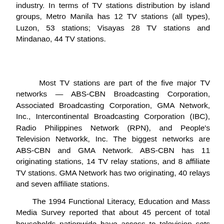industry. In terms of TV stations distribution by island groups, Metro Manila has 12 TV stations (all types), Luzon, 53 stations; Visayas 28 TV stations and Mindanao, 44 TV stations.
Most TV stations are part of the five major TV networks — ABS-CBN Broadcasting Corporation, Associated Broadcasting Corporation, GMA Network, Inc., Intercontinental Broadcasting Corporation (IBC), Radio Philippines Network (RPN), and People's Television Networkk, Inc. The biggest networks are ABS-CBN and GMA Network. ABS-CBN has 11 originating stations, 14 TV relay stations, and 8 affiliate TV stations. GMA Network has two originating, 40 relays and seven affiliate stations.
The 1994 Functional Literacy, Education and Mass Media Survey reported that about 45 percent of total households nationwide have access to television sets and